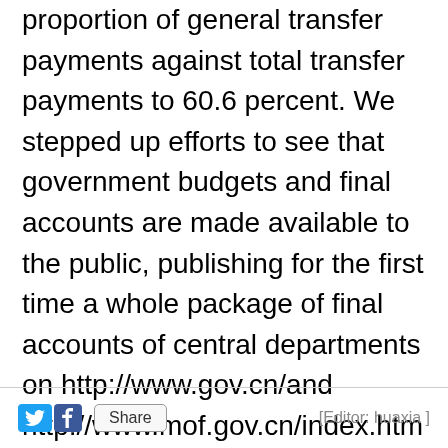proportion of general transfer payments against total transfer payments to 60.6 percent. We stepped up efforts to see that government budgets and final accounts are made available to the public, publishing for the first time a whole package of final accounts of central departments on http://www.gov.cn/and http://www.mof.gov.cn/index.htm and drawing up operating procedures for publicly releasing local budgets and final accounts.(more)
[Editor: huaxia ]